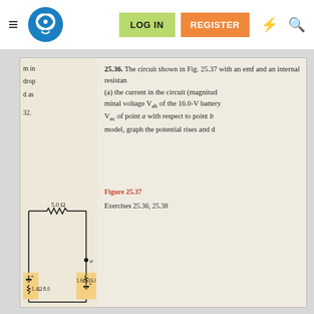LOG IN | REGISTER
[Figure (screenshot): Website navigation bar with hamburger menu, brain/atom logo, LOG IN button (green), REGISTER button (orange), lightning bolt icon, and search icon]
[Figure (photo): Scanned textbook page showing problem 25.36 and Figure 25.37. Problem 25.36 describes a circuit with emf and internal resistance, asking for current and terminal voltage V_ab of 16.0-V battery, and potential of point a with respect to point b using model, graphing potential rises and drops. Figure 25.37 shows a circuit diagram with 5.0 Ω resistor, 1.4 Ω internal resistance with 8.0 V battery, and 1.6 Ω with 16.0 V battery, with point a labeled.]
Figure 25.37
25.36. The circuit shown in Fig. 25.37 with an emf and an internal resistance (a) the current in the circuit (magnitude and terminal voltage V_ab of the 16.0-V battery V_ac of point a with respect to point b using model, graph the potential rises and drops.
Exercises 25.36, 25.38